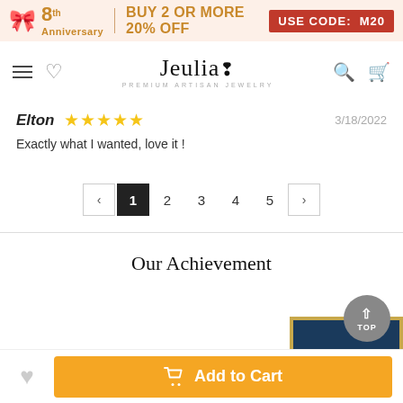8th Anniversary | BUY 2 OR MORE 20% OFF USE CODE: M20
Jeulia PREMIUM ARTISAN JEWELRY
Elton    ★★★★★    3/18/2022
Exactly what I wanted, love it !
‹ 1 2 3 4 5 ›
Our Achievement
Add to Cart